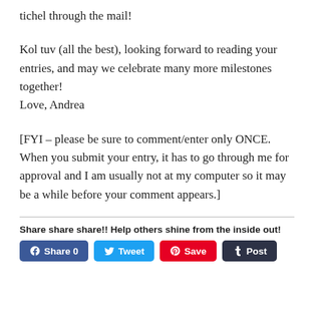tichel through the mail!
Kol tuv (all the best), looking forward to reading your entries, and may we celebrate many more milestones together!
Love, Andrea
[FYI – please be sure to comment/enter only ONCE.  When you submit your entry, it has to go through me for approval and I am usually not at my computer so it may be a while before your comment appears.]
Share share share!! Help others shine from the inside out!
Share 0  Tweet  Save  Post